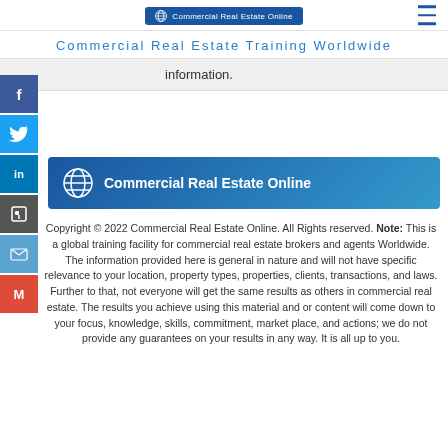Commercial Real Estate Online (logo) | hamburger menu
Commercial Real Estate Training Worldwide
information.
[Figure (logo): Commercial Real Estate Online logo banner — globe icon with text on blue gradient background]
Copyright © 2022 Commercial Real Estate Online. All Rights reserved. Note: This is a global training facility for commercial real estate brokers and agents Worldwide. The information provided here is general in nature and will not have specific relevance to your location, property types, properties, clients, transactions, and laws. Further to that, not everyone will get the same results as others in commercial real estate. The results you achieve using this material and or content will come down to your focus, knowledge, skills, commitment, market place, and actions; we do not provide any guarantees on your results in any way. It is all up to you.